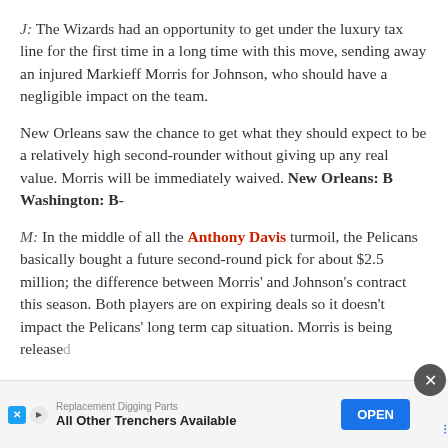J: The Wizards had an opportunity to get under the luxury tax line for the first time in a long time with this move, sending away an injured Markieff Morris for Johnson, who should have a negligible impact on the team.
New Orleans saw the chance to get what they should expect to be a relatively high second-rounder without giving up any real value. Morris will be immediately waived. New Orleans: B Washington: B-
M: In the middle of all the Anthony Davis turmoil, the Pelicans basically bought a future second-round pick for about $2.5 million; the difference between Morris' and Johnson's contract this season. Both players are on expiring deals so it doesn't impact the Pelicans' long term cap situation. Morris is being release...
[Figure (other): Advertisement banner: Replacement Digging Parts - All Other Trenchers Available, with OPEN button]